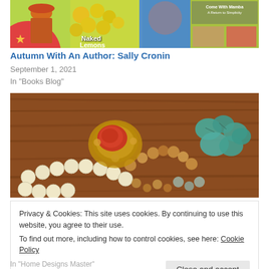[Figure (photo): Banner image with collage including woman with red hat, lemons with 'Naked Lemons' text, person in yoga pose, and book cover]
Autumn With An Author: Sally Cronin
September 1, 2021
In "Books Blog"
[Figure (photo): Close-up photo of colorful jewelry including pearl strand, golden brooch with red coral stone, amber/crystal beads, and turquoise stones on wooden surface]
Privacy & Cookies: This site uses cookies. By continuing to use this website, you agree to their use.
To find out more, including how to control cookies, see here: Cookie Policy
Close and accept
In "Home Designs Master"